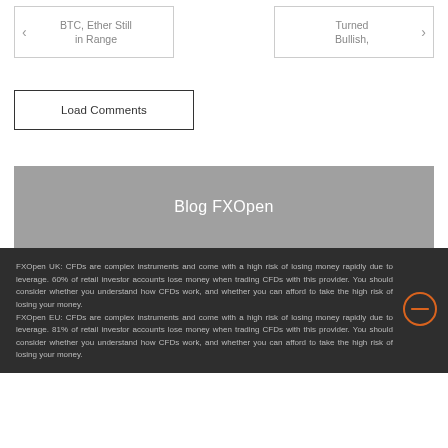BTC, Ether Still in Range
Turned Bullish,
Load Comments
Blog FXOpen
FXOpen UK: CFDs are complex instruments and come with a high risk of losing money rapidly due to leverage. 60% of retail investor accounts lose money when trading CFDs with this provider. You should consider whether you understand how CFDs work, and whether you can afford to take the high risk of losing your money. FXOpen EU: CFDs are complex instruments and come with a high risk of losing money rapidly due to leverage. 81% of retail investor accounts lose money when trading CFDs with this provider. You should consider whether you understand how CFDs work, and whether you can afford to take the high risk of losing your money.